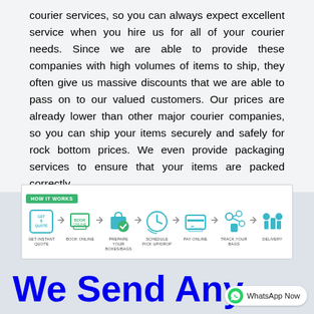courier services, so you can always expect excellent service when you hire us for all of your courier needs. Since we are able to provide these companies with high volumes of items to ship, they often give us massive discounts that we are able to pass on to our valued customers. Our prices are already lower than other major courier companies, so you can ship your items securely and safely for rock bottom prices. We even provide packaging services to ensure that your items are packed correctly.
[Figure (infographic): How It Works infographic showing 7 steps with icons and arrows: Get Instant Quote, Book Online, Prepare Your Boxes/Bags, Schedule Pick Up/Drop Off, Pay Online, Track Your Bags, Delivery]
We Send Any...